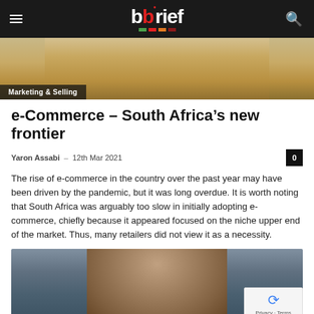bbrief
[Figure (photo): Cropped top portion of a person's face with blonde hair, partial hero image]
Marketing & Selling
e-Commerce – South Africa's new frontier
Yaron Assabi  –  12th Mar 2021
The rise of e-commerce in the country over the past year may have been driven by the pandemic, but it was long overdue. It is worth noting that South Africa was arguably too slow in initially adopting e-commerce, chiefly because it appeared focused on the niche upper end of the market. Thus, many retailers did not view it as a necessity.
[Figure (photo): Portrait photo of a man with brown curly hair against a grey background]